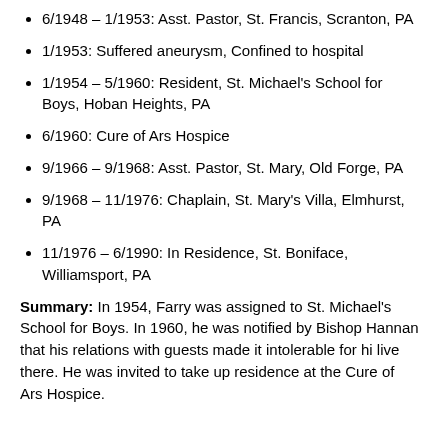6/1948 – 1/1953: Asst. Pastor, St. Francis, Scranton, PA
1/1953: Suffered aneurysm, Confined to hospital
1/1954 – 5/1960: Resident, St. Michael's School for Boys, Hoban Heights, PA
6/1960: Cure of Ars Hospice
9/1966 – 9/1968: Asst. Pastor, St. Mary, Old Forge, PA
9/1968 – 11/1976: Chaplain, St. Mary's Villa, Elmhurst, PA
11/1976 – 6/1990: In Residence, St. Boniface, Williamsport, PA
Summary: In 1954, Farry was assigned to St. Michael's School for Boys. In 1960, he was notified by Bishop Hannan that his relations with guests made it intolerable for him to live there. He was invited to take up residence at the Cure of Ars Hospice.